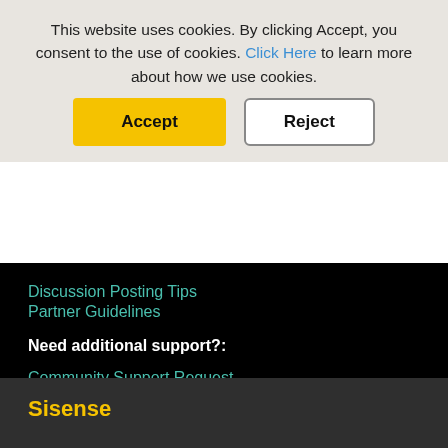This website uses cookies. By clicking Accept, you consent to the use of cookies. Click Here to learn more about how we use cookies.
Accept
Reject
Discussion Posting Tips
Partner Guidelines
Need additional support?:
Community Support Request
Sisense